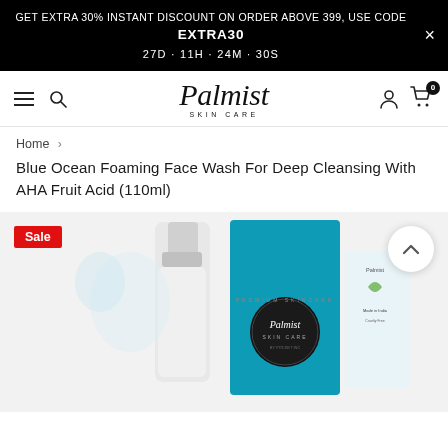GET EXTRA 30% INSTANT DISCOUNT ON ORDER ABOVE 399, USE CODE EXTRA30 27D · 11H · 24M · 30S
[Figure (logo): Palmist Skin Care logo with stylized italic text and SKIN CARE subtitle]
Home > Blue Ocean Foaming Face Wash For Deep Cleansing With AHA Fruit Acid (110ml)
Blue Ocean Foaming Face Wash For Deep Cleansing With AHA Fruit Acid (110ml)
[Figure (photo): Product photo of Blue Ocean Foaming Face Wash by Palmist Skin Care in 110ml white foaming pump bottle with blue ocean branded packaging and a small info card beside it. Sale badge in red top-left corner.]